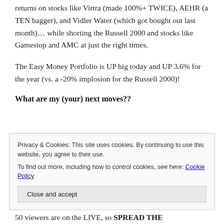returns on stocks like Virtra (made 100%+ TWICE), AEHR (a TEN bagger), and Vidler Water (which got bought out last month)… while shorting the Russell 2000 and stocks like Gamestop and AMC at just the right times.
The Easy Money Portfolio is UP big today and UP 3.6% for the year (vs. a -20% implosion for the Russell 2000)!
What are my (your) next moves??
Privacy & Cookies: This site uses cookies. By continuing to use this website, you agree to their use.
To find out more, including how to control cookies, see here: Cookie Policy
50 viewers are on the LIVE, so SPREAD THE